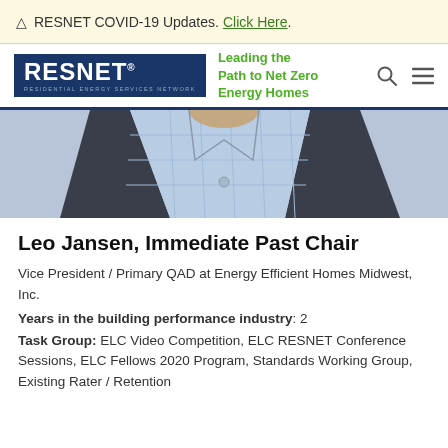⚠ RESNET COVID-19 Updates. Click Here.
[Figure (logo): RESNET logo with tagline 'Leading the Path to Net Zero Energy Homes' and navigation icons]
[Figure (photo): Partial photo of a man in a dark suit jacket and light blue checked shirt]
Leo Jansen, Immediate Past Chair
Vice President / Primary QAD at Energy Efficient Homes Midwest, Inc.
Years in the building performance industry: 2
Task Group: ELC Video Competition, ELC RESNET Conference Sessions, ELC Fellows 2020 Program, Standards Working Group, Existing Rater / Retention